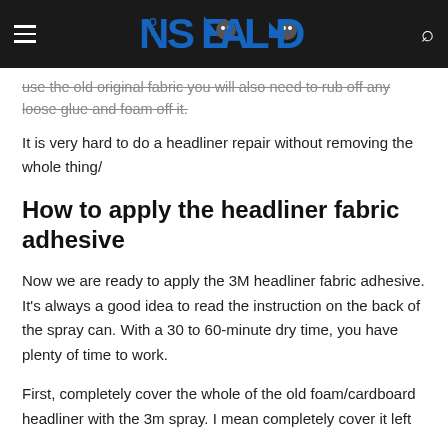NOT SEALED [logo with android icons]
use the old original fabric you will also need to rub off any loose glue and foam off it.
It is very hard to do a headliner repair without removing the whole thing/
How to apply the headliner fabric adhesive
Now we are ready to apply the 3M headliner fabric adhesive. It's always a good idea to read the instruction on the back of the spray can. With a 30 to 60-minute dry time, you have plenty of time to work.
First, completely cover the whole of the old foam/cardboard headliner with the 3m spray. I mean completely cover it left